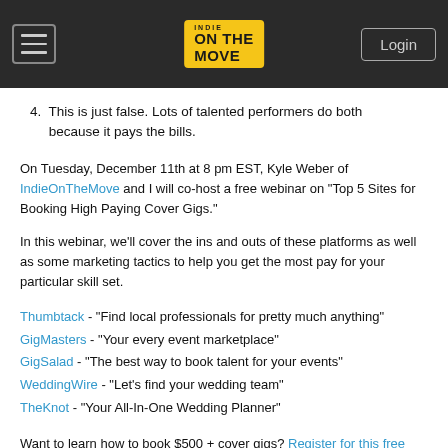Indie on the Move — Login
4. This is just false. Lots of talented performers do both because it pays the bills.
On Tuesday, December 11th at 8 pm EST, Kyle Weber of IndieOnTheMove and I will co-host a free webinar on "Top 5 Sites for Booking High Paying Cover Gigs."
In this webinar, we'll cover the ins and outs of these platforms as well as some marketing tactics to help you get the most pay for your particular skill set.
Thumbtack - "Find local professionals for pretty much anything"
GigMasters - "Your every event marketplace"
GigSalad - "The best way to book talent for your events"
WeddingWire - "Let's find your wedding team"
TheKnot - "Your All-In-One Wedding Planner"
Want to learn how to book $500 + cover gigs? Register for this free webinar, show up and take notes!